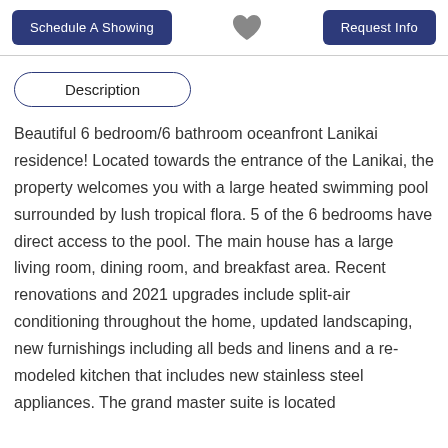[Figure (other): Top navigation bar with two dark blue buttons labeled 'Schedule A Showing' and 'Request Info', and a gray heart icon in the center]
Description
Beautiful 6 bedroom/6 bathroom oceanfront Lanikai residence! Located towards the entrance of the Lanikai, the property welcomes you with a large heated swimming pool surrounded by lush tropical flora. 5 of the 6 bedrooms have direct access to the pool. The main house has a large living room, dining room, and breakfast area. Recent renovations and 2021 upgrades include split-air conditioning throughout the home, updated landscaping, new furnishings including all beds and linens and a re-modeled kitchen that includes new stainless steel appliances. The grand master suite is located